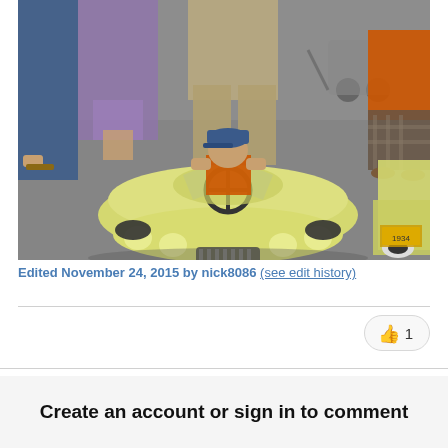[Figure (photo): A young child wearing an orange shirt and blue cap sits in a small yellow pedal car at what appears to be a car show. Adults and another child stand around the vehicle. A vintage yellow car is visible on the right side.]
Edited November 24, 2015 by nick8086 (see edit history)
👍 1
Create an account or sign in to comment